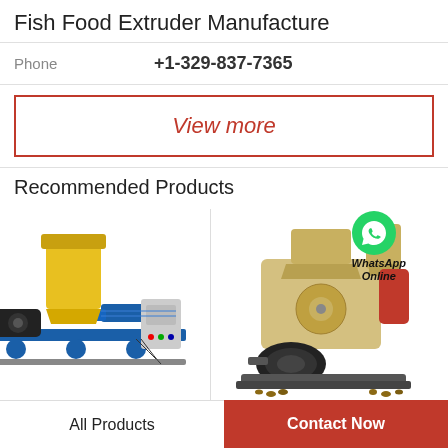Fish Food Extruder Manufacture
| Phone | +1-329-837-7365 |
| --- | --- |
View more
Recommended Products
[Figure (photo): Yellow and blue fish food extruder machine with control panel]
[Figure (photo): Beige pellet mill machine with electric motor and WhatsApp Online badge]
All Products
Contact Now